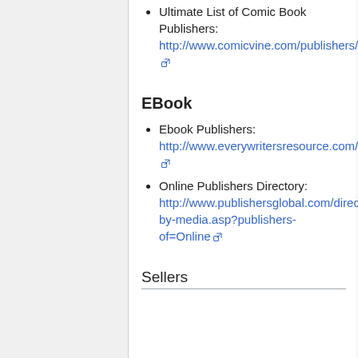Ultimate List of Comic Book Publishers: http://www.comicvine.com/publishers/ [external link]
EBook
Ebook Publishers: http://www.everywritersresource.com/ebookpublishers.html [external link]
Online Publishers Directory: http://www.publishersglobal.com/directory/publishers-by-media.asp?publishers-of=Online [external link]
Sellers